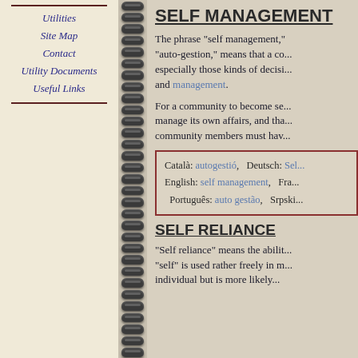Utilities
Site Map
Contact
Utility Documents
Useful Links
SELF MANAGEMENT
The phrase "self management," "auto-gestion," means that a co... especially those kinds of decisi... and management.
For a community to become se... manage its own affairs, and tha... community members must hav...
Català: autogestió,   Deutsch: Sel... English: self management,   Fra... Português: auto gestão,   Srpski...
SELF RELIANCE
"Self reliance" means the abilit... "self" is used rather freely in m... individual but is more likely...